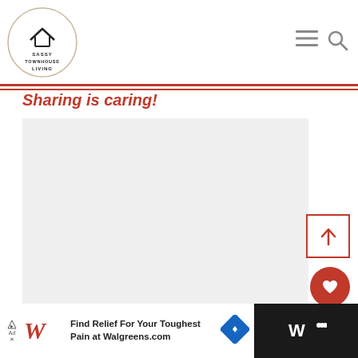[Figure (logo): Sassy Townhouse Living logo: circle with house/roof icon and text 'SASSY TOWNHOUSE LIVING']
SASSY TOWNHOUSE LIVING
Sharing is caring!
[Figure (photo): Large light gray placeholder/loading image area]
[Figure (screenshot): UI elements: scroll-to-top button (red arrow up in red border box), heart/like button (red circle with white heart), like count 37, share button]
37
[Figure (infographic): Bottom advertisement bar: Walgreens ad - Find Relief For Your Toughest Pain at Walgreens.com, with Walgreens script logo and blue diamond navigation icon]